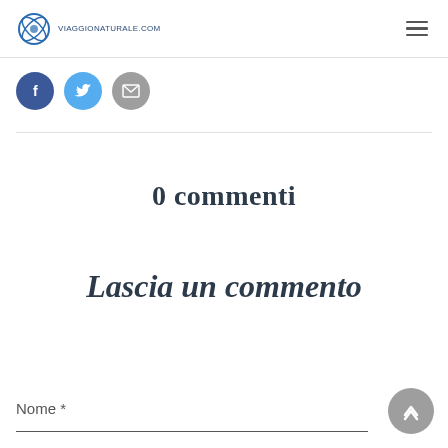viaggionaturale.com
[Figure (other): Three social sharing buttons: Facebook (blue), Twitter (light blue), Email (grey)]
0 commenti
Lascia un commento
Nome *